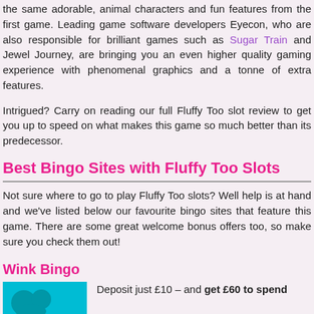the same adorable, animal characters and fun features from the first game. Leading game software developers Eyecon, who are also responsible for brilliant games such as Sugar Train and Jewel Journey, are bringing you an even higher quality gaming experience with phenomenal graphics and a tonne of extra features.
Intrigued? Carry on reading our full Fluffy Too slot review to get you up to speed on what makes this game so much better than its predecessor.
Best Bingo Sites with Fluffy Too Slots
Not sure where to go to play Fluffy Too slots? Well help is at hand and we've listed below our favourite bingo sites that feature this game. There are some great welcome bonus offers too, so make sure you check them out!
Wink Bingo
Deposit just £10 – and get £60 to spend